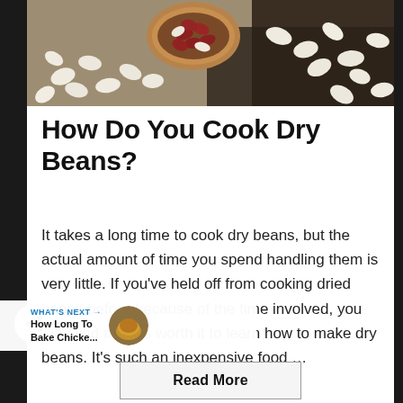[Figure (photo): Top-down view of dried beans — white navy beans scattered on a dark surface with a wooden bowl containing red kidney beans and more white beans]
How Do You Cook Dry Beans?
It takes a long time to cook dry beans, but the actual amount of time you spend handling them is very little. If you've held off from cooking dried beans before because of the time involved, you may find that it's worth it to learn how to make dry beans. It's such an inexpensive food …